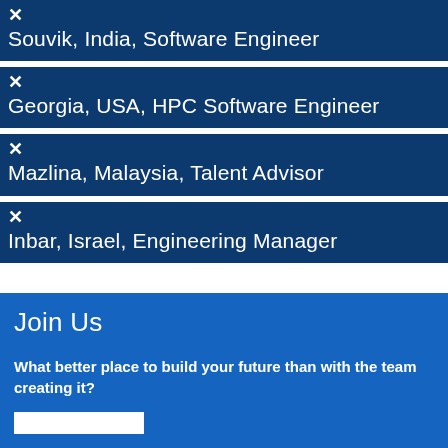✕
Souvik, India, Software Engineer
✕
Georgia, USA, HPC Software Engineer
✕
Mazlina, Malaysia, Talent Advisor
✕
Inbar, Israel, Engineering Manager
Join Us
What better place to build your future than with the team creating it?